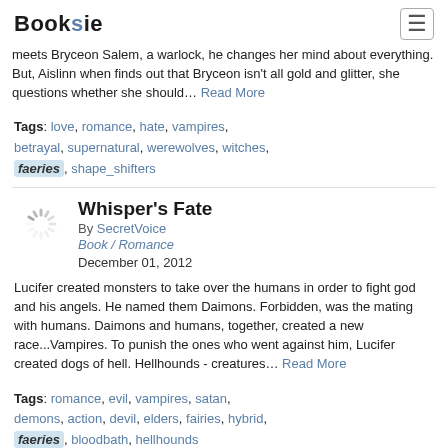Booksie
meets Bryceon Salem, a warlock, he changes her mind about everything. But, Aislinn when finds out that Bryceon isn't all gold and glitter, she questions whether she should… Read More
Tags: love, romance, hate, vampires, betrayal, supernatural, werewolves, witches, faeries, shape_shifters
Whisper's Fate
By SecretVoice
Book / Romance
December 01, 2012
Lucifer created monsters to take over the humans in order to fight god and his angels. He named them Daimons. Forbidden, was the mating with humans. Daimons and humans, together, created a new race...Vampires. To punish the ones who went against him, Lucifer created dogs of hell. Hellhounds - creatures... Read More
Tags: romance, evil, vampires, satan, demons, action, devil, elders, fairies, hybrid, faeries, bloodbath, hellhounds